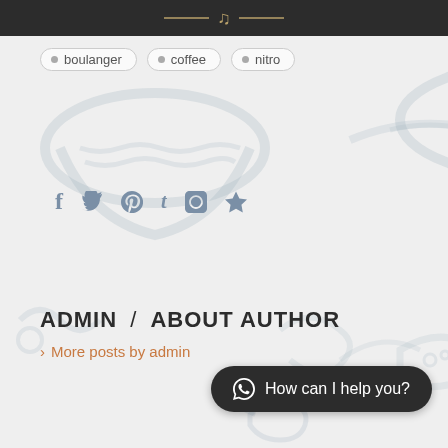boulanger
coffee
nitro
[Figure (illustration): Social media share icons: Facebook, Twitter, Pinterest, Tumblr, LinkedIn, Reddit]
[Figure (illustration): Decorative watermark background with bread and coffee illustrations]
ADMIN / ABOUT AUTHOR
More posts by admin
How can I help you?